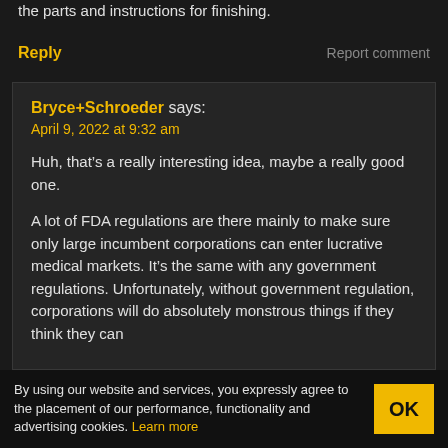the parts and instructions for finishing.
Reply
Report comment
Bryce+Schroeder says:
April 9, 2022 at 9:32 am

Huh, that’s a really interesting idea, maybe a really good one.

A lot of FDA regulations are there mainly to make sure only large incumbent corporations can enter lucrative medical markets. It’s the same with any government regulations. Unfortunately, without government regulation, corporations will do absolutely monstrous things if they think they can
By using our website and services, you expressly agree to the placement of our performance, functionality and advertising cookies. Learn more